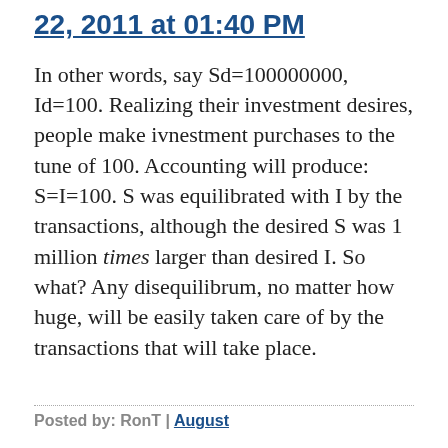22, 2011 at 01:40 PM
In other words, say Sd=100000000, Id=100. Realizing their investment desires, people make ivnestment purchases to the tune of 100. Accounting will produce: S=I=100. S was equilibrated with I by the transactions, although the desired S was 1 million times larger than desired I. So what? Any disequilibrum, no matter how huge, will be easily taken care of by the transactions that will take place.
Posted by: RonT | August